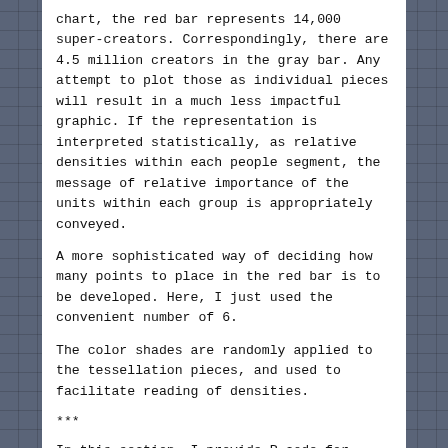chart, the red bar represents 14,000 super-creators. Correspondingly, there are 4.5 million creators in the gray bar. Any attempt to plot those as individual pieces will result in a much less impactful graphic. If the representation is interpreted statistically, as relative densities within each people segment, the message of relative importance of the units within each group is appropriately conveyed.
A more sophisticated way of deciding how many points to place in the red bar is to be developed. Here, I just used the convenient number of 6.
The color shades are randomly applied to the tessellation pieces, and used to facilitate reading of densities.
***
In this section, I provide R code for those who want to explore this some more. This is code used for prototyping, and you're welcome to improve them. The general strategy is as follows: